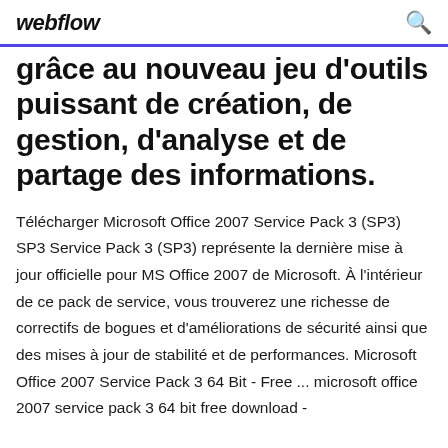webflow
grâce au nouveau jeu d'outils puissant de création, de gestion, d'analyse et de partage des informations.
Télécharger Microsoft Office 2007 Service Pack 3 (SP3) SP3 Service Pack 3 (SP3) représente la dernière mise à jour officielle pour MS Office 2007 de Microsoft. À l'intérieur de ce pack de service, vous trouverez une richesse de correctifs de bogues et d'améliorations de sécurité ainsi que des mises à jour de stabilité et de performances. Microsoft Office 2007 Service Pack 3 64 Bit - Free ... microsoft office 2007 service pack 3 64 bit free download -